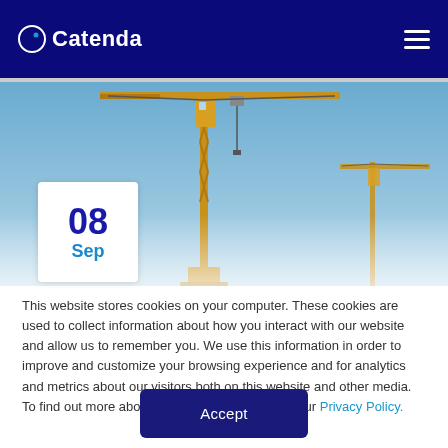Catenda
[Figure (photo): Construction cranes against a clear blue sky, showing yellow tower cranes with cables and machinery. A white date badge overlaid in the top-left area shows '08 Sep'.]
This website stores cookies on your computer. These cookies are used to collect information about how you interact with our website and allow us to remember you. We use this information in order to improve and customize your browsing experience and for analytics and metrics about our visitors both on this website and other media. To find out more about the cookies we use, see our Privacy Policy.
Accept